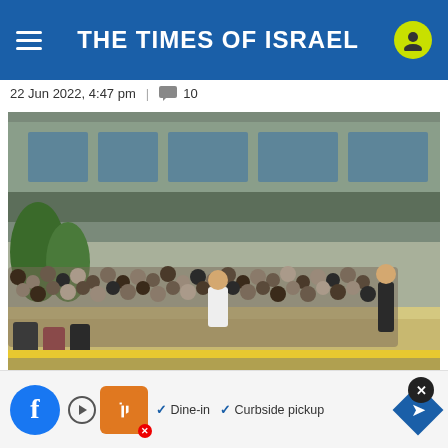THE TIMES OF ISRAEL
22 Jun 2022, 4:47 pm  |  💬  10
[Figure (photo): Crowd of people standing in a long queue outside Ben Gurion Airport's Terminal One building, with luggage, on a sunny day.]
Long lines seen at Ben Gurion Airport's Terminal One on June 22, 2022. (Screenshot/Twitter)
[Figure (screenshot): Bottom area with Facebook share button, an advertisement for a restaurant featuring Dine-in and Curbside pickup options with a logo, and a navigation diamond arrow button, plus a close (X) badge.]